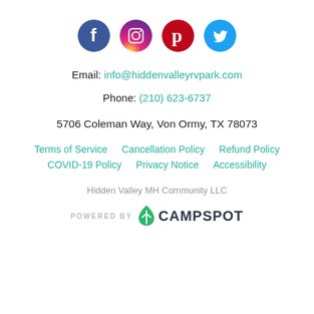[Figure (illustration): Four social media icons in circles: Facebook (dark blue), Instagram (purple/gradient), Pinterest (red), Twitter (light blue)]
Email: info@hiddenvalleyrvpark.com
Phone: (210) 623-6737
5706 Coleman Way, Von Ormy, TX 78073
Terms of Service
Cancellation Policy
Refund Policy
COVID-19 Policy
Privacy Notice
Accessibility
Hidden Valley MH Community LLC
[Figure (logo): POWERED BY CAMPSPOT logo with green leaf/drop icon]